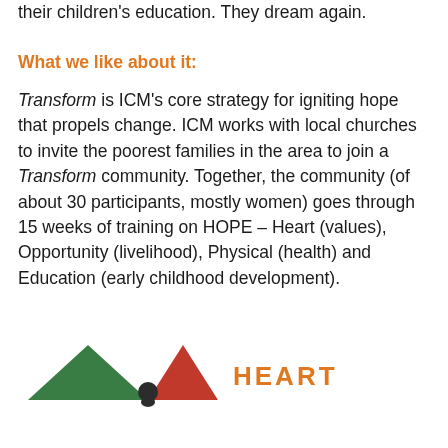their children's education. They dream again.
What we like about it:
Transform is ICM's core strategy for igniting hope that propels change. ICM works with local churches to invite the poorest families in the area to join a Transform community. Together, the community (of about 30 participants, mostly women) goes through 15 weeks of training on HOPE – Heart (values), Opportunity (livelihood), Physical (health) and Education (early childhood development).
[Figure (infographic): HOPE infographic showing colored triangular shapes (green and red) with a person silhouette and the word HEART in orange text]